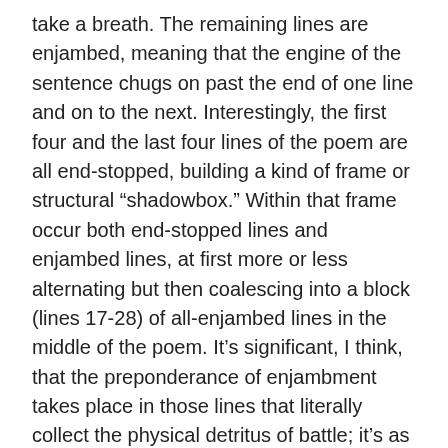take a breath. The remaining lines are enjambed, meaning that the engine of the sentence chugs on past the end of one line and on to the next. Interestingly, the first four and the last four lines of the poem are all end-stopped, building a kind of frame or structural “shadowbox.” Within that frame occur both end-stopped lines and enjambed lines, at first more or less alternating but then coalescing into a block (lines 17-28) of all-enjambed lines in the middle of the poem. It’s significant, I think, that the preponderance of enjambment takes place in those lines that literally collect the physical detritus of battle; it’s as if those run-on lines contain too much sheer stuff and emotion to do anything but overflow.
Within the concept of enjambment exists a